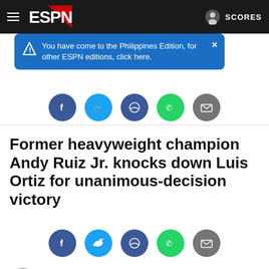ESPN navigation bar with hamburger menu, ESPN logo, user icon, SCORES
[Figure (screenshot): Blue tooltip banner: You have come to the Philippines Edition, for other ESPN editions, click here.]
[Figure (infographic): Social share icons row: Facebook, Twitter, Messenger, WhatsApp, Email]
Former heavyweight champion Andy Ruiz Jr. knocks down Luis Ortiz for unanimous-decision victory
[Figure (infographic): Social share icons row: Facebook, Twitter, Messenger, WhatsApp, Email]
Mike Coppinger
ESPN
5:25 AM